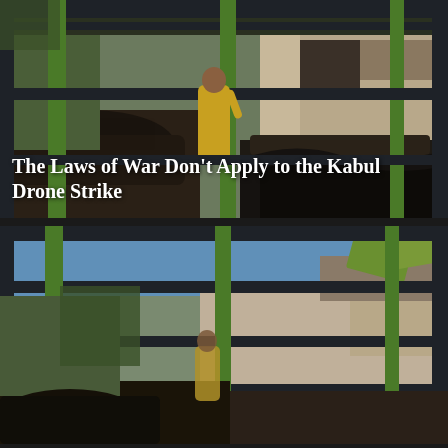[Figure (photo): A war-damaged scene viewed through a green and dark metal gate/fence. A person in a yellow robe stands amid debris and burned-out vehicles. Destroyed building in background.]
The Laws of War Don't Apply to the Kabul Drone Strike
[Figure (photo): The same war-damaged scene viewed through the same green and dark metal gate/fence, a slightly different angle showing more of the gate structure, debris, and damaged building.]